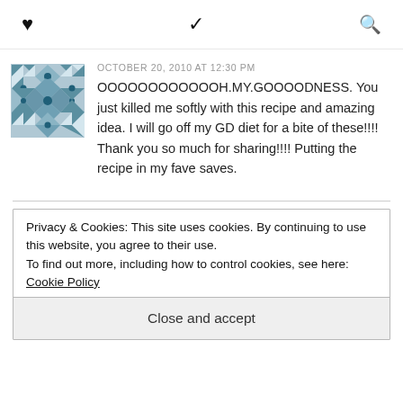♥  ✓  🔍
OCTOBER 20, 2010 AT 12:30 PM
OOOOOOOOOOOOH.MY.GOOOODNESS. You just killed me softly with this recipe and amazing idea. I will go off my GD diet for a bite of these!!!! Thank you so much for sharing!!!! Putting the recipe in my fave saves.
Privacy & Cookies: This site uses cookies. By continuing to use this website, you agree to their use.
To find out more, including how to control cookies, see here: Cookie Policy
Close and accept